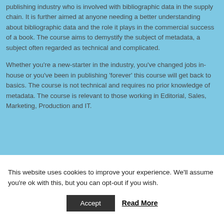publishing industry who is involved with bibliographic data in the supply chain. It is further aimed at anyone needing a better understanding about bibliographic data and the role it plays in the commercial success of a book. The course aims to demystify the subject of metadata, a subject often regarded as technical and complicated.
Whether you're a new-starter in the industry, you've changed jobs in-house or you've been in publishing 'forever' this course will get back to basics. The course is not technical and requires no prior knowledge of metadata. The course is relevant to those working in Editorial, Sales, Marketing, Production and IT.
This website uses cookies to improve your experience. We'll assume you're ok with this, but you can opt-out if you wish.
Accept
Read More